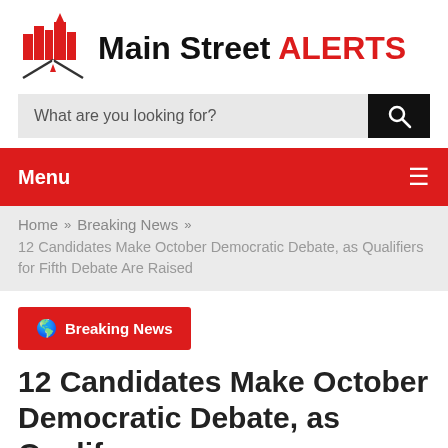[Figure (logo): Main Street ALERTS logo with red cityscape/road icon and bold text]
What are you looking for?
Menu
Home » Breaking News » 12 Candidates Make October Democratic Debate, as Qualifiers for Fifth Debate Are Raised
Breaking News
12 Candidates Make October Democratic Debate, as Qualif...